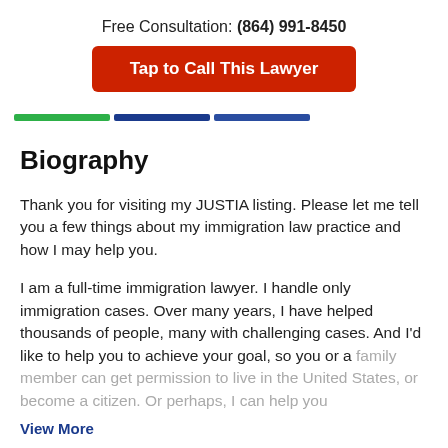Free Consultation: (864) 991-8450
Tap to Call This Lawyer
[Figure (other): Three horizontal color bars: green, dark blue, medium blue]
Biography
Thank you for visiting my JUSTIA listing. Please let me tell you a few things about my immigration law practice and how I may help you.
I am a full-time immigration lawyer. I handle only immigration cases. Over many years, I have helped thousands of people, many with challenging cases. And I'd like to help you to achieve your goal, so you or a family member can get permission to live in the United States, or become a citizen. Or perhaps, I can help you
View More